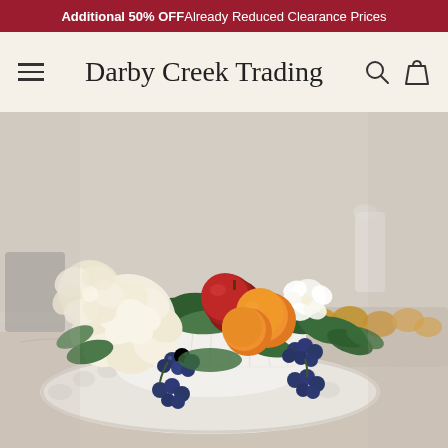Additional 50% OFF Already Reduced Clearance Prices
Darby Creek Trading
[Figure (photo): A decorative floral and fruit arrangement in a white textured ceramic bowl placed on a scalloped marble board on a kitchen counter. The arrangement includes cream-colored peonies, blueberries on stems, oranges, red apples, and green leaves. In the background are muffins, croissants, and kitchen appliances on a marble countertop.]